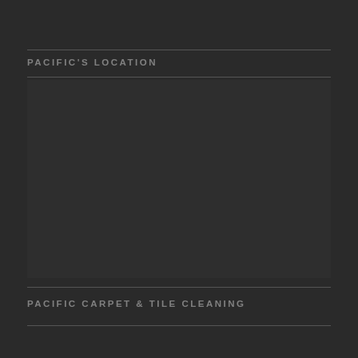PACIFIC'S LOCATION
[Figure (map): Map placeholder area showing Pacific's location, dark background]
PACIFIC CARPET & TILE CLEANING